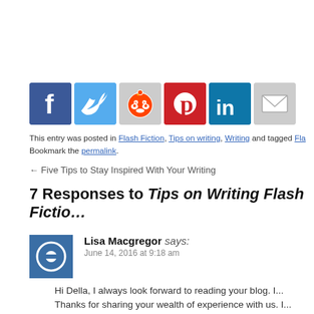[Figure (infographic): Row of social media sharing icons: Facebook (blue), Twitter (light blue), Reddit (gray with alien), Pinterest (red), LinkedIn (dark blue), Email (gray envelope)]
This entry was posted in Flash Fiction, Tips on writing, Writing and tagged Fla... Bookmark the permalink.
← Five Tips to Stay Inspired With Your Writing
7 Responses to Tips on Writing Flash Fictio...
Lisa Macgregor says:
June 14, 2016 at 9:18 am
Hi Della, I always look forward to reading your blog. I... Thanks for sharing your wealth of experience with us. I...